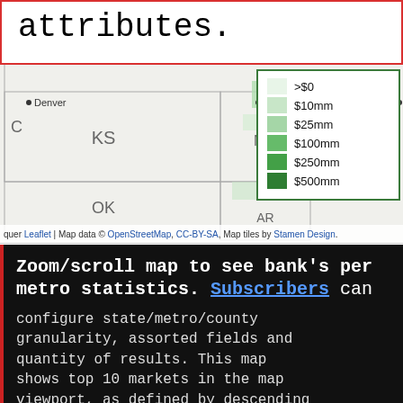attributes.
[Figure (map): A geographic map showing US states including KS (Kansas), MO (Missouri), OK (Oklahoma), AR (Arkansas), with cities Denver and Kansas City marked. Green-shaded county/metro regions visible in Missouri area. A legend in the upper right shows green gradient swatches for values: >$0, $10mm, $25mm, $100mm, $250mm, $500mm.]
Leaflet | Map data © OpenStreetMap, CC-BY-SA, Map tiles by Stamen Design.
Zoom/scroll map to see bank's per metro statistics. Subscribers can configure state/metro/county granularity, assorted fields and quantity of results. This map shows top 10 markets in the map viewport, as defined by descending